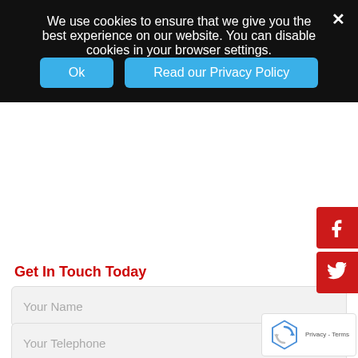We use cookies to ensure that we give you the best experience on our website. You can disable cookies in your browser settings.
Ok
Read our Privacy Policy
[Figure (illustration): Facebook and Twitter social media icons (red rounded rectangles) on the right side]
Get In Touch Today
Your Name
Your Telephone
[Figure (logo): reCAPTCHA badge with rotating arrows logo and Privacy - Terms text]